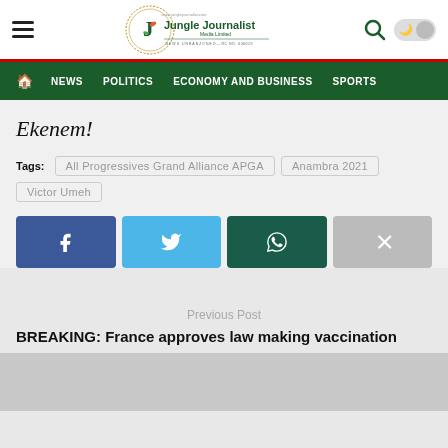Jungle Journalist Media Limited — NEWS UNBANZONED — RC NO. 646029
NEWS   POLITICS   ECONOMY AND BUSINESS   SPORTS
Ekenem!
Tags: All Progressives Grand Alliance APGA   Anambra 2021   Victor Umeh
[Figure (infographic): Social share buttons: Facebook (dark blue), Twitter (light blue), WhatsApp (dark green), Forward/Share (gray)]
Previous Post
BREAKING: France approves law making vaccination